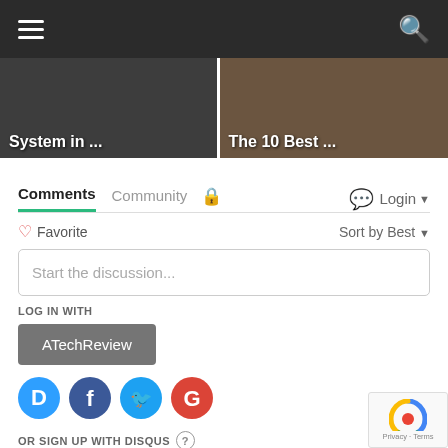Navigation bar with hamburger menu and search icon
[Figure (screenshot): Two thumbnail images side by side showing article previews labeled 'System in ...' and 'The 10 Best ...']
Comments  Community  🔒  Login ▾
♡ Favorite    Sort by Best ▾
Start the discussion...
LOG IN WITH
ATechReview
[Figure (logo): Social login icons: Disqus (D), Facebook (f), Twitter bird, Google (G)]
OR SIGN UP WITH DISQUS ?
Name